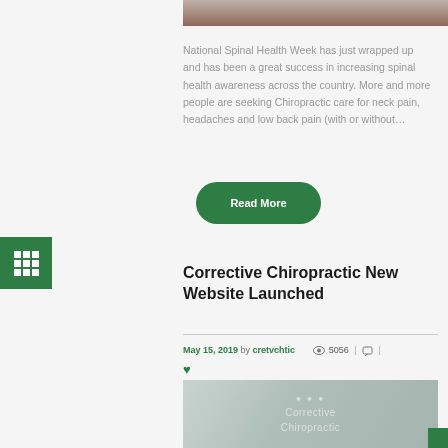[Figure (photo): Partial top image of people, cropped at top of page]
National Spinal Health Week has just wrapped up and has been a great success in increasing spinal health awareness across the country. More and more people are seeking Chiropractic care for neck pain, headaches and low back pain (with or without…
Read More
[Figure (other): Green sidebar icon with 3x3 grid of white squares]
Corrective Chiropractic New Website Launched
May 15, 2019 by cretvchtic  👁 5056  |  💬  |  ♥
[Figure (photo): Photo of Corrective Chiropractic office sign with logo on wall]